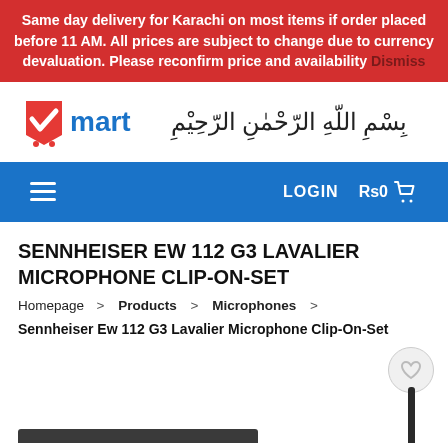Same day delivery for Karachi on most items if order placed before 11 AM. All prices are subject to change due to currency devaluation. Please reconfirm price and availability Dismiss
[Figure (logo): Vmart logo with red shopping cart icon and blue 'mart' text, alongside Arabic Bismillah calligraphy]
LOGIN   Rs0 cart
SENNHEISER EW 112 G3 LAVALIER MICROPHONE CLIP-ON-SET
Homepage > Products > Microphones >
Sennheiser Ew 112 G3 Lavalier Microphone Clip-On-Set
[Figure (photo): Partial product image showing a lavalier microphone stick and a wishlist heart icon circle on gray background]